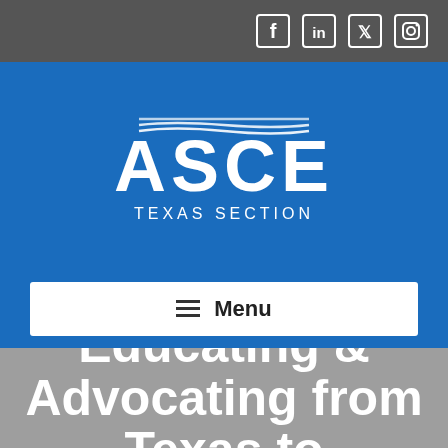Social media icons: Facebook, LinkedIn, Twitter, Instagram
[Figure (logo): ASCE Texas Section logo — large white 'ASCE' text with decorative wave lines underneath, and 'TEXAS SECTION' in smaller white letters below, on a blue background]
≡ Menu
Educating & Advocating from Texas to